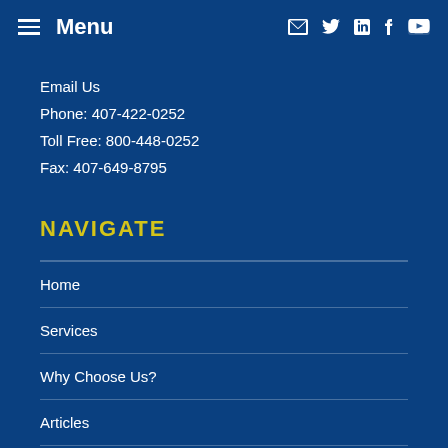Menu
Email Us
Phone: 407-422-0252
Toll Free: 800-448-0252
Fax: 407-649-8795
NAVIGATE
Home
Services
Why Choose Us?
Articles
In the News
Your T...